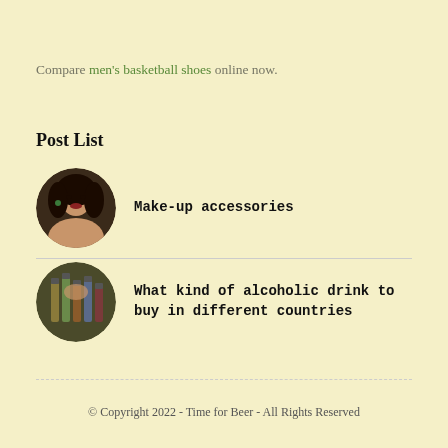Compare men's basketball shoes online now.
Post List
Make-up accessories
What kind of alcoholic drink to buy in different countries
© Copyright 2022 - Time for Beer - All Rights Reserved